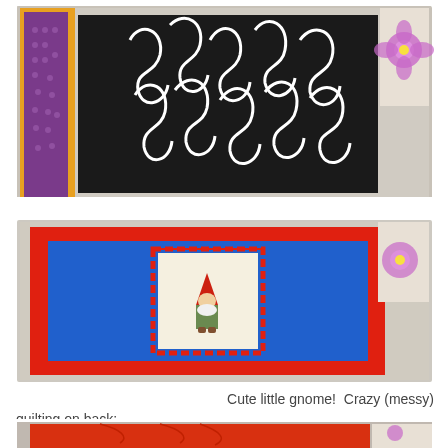[Figure (photo): Photo of quilt squares pinned to a wall, showing a black fabric with white swirl pattern in center, purple dotted fabric on left, yellow border, and floral fabric on right]
[Figure (photo): Photo of a small quilt with red border, blue fabric background, and a centered white panel with red chevron/zigzag border containing a gnome applique figure]
Cute little gnome!  Crazy (messy) quilting on back:
[Figure (photo): Photo showing the back of the gnome quilt, all in red/orange fabric with visible quilting stitches in a swirling pattern, with a purple floral fabric visible on right edge]